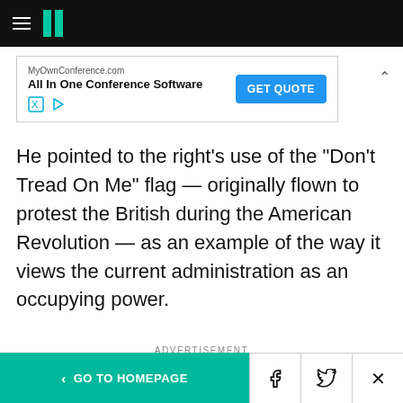HuffPost navigation bar with hamburger menu and logo
[Figure (screenshot): Advertisement banner: MyOwnConference.com - All In One Conference Software - GET QUOTE button]
He pointed to the right's use of the "Don't Tread On Me" flag — originally flown to protest the British during the American Revolution — as an example of the way it views the current administration as an occupying power.
ADVERTISEMENT
Search for
Metastatic Breast Cancer
< GO TO HOMEPAGE  [Facebook] [Twitter] [X]